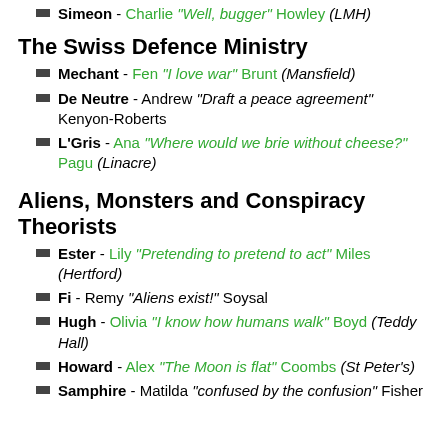Simeon - Charlie "Well, bugger" Howley (LMH)
The Swiss Defence Ministry
Mechant - Fen "I love war" Brunt (Mansfield)
De Neutre - Andrew "Draft a peace agreement" Kenyon-Roberts
L'Gris - Ana "Where would we brie without cheese?" Pagu (Linacre)
Aliens, Monsters and Conspiracy Theorists
Ester - Lily "Pretending to pretend to act" Miles (Hertford)
Fi - Remy "Aliens exist!" Soysal
Hugh - Olivia "I know how humans walk" Boyd (Teddy Hall)
Howard - Alex "The Moon is flat" Coombs (St Peter's)
Samphire - Matilda "confused by the confusion" Fisher